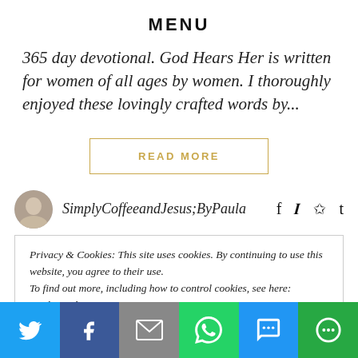MENU
365 day devotional. God Hears Her is written for women of all ages by women. I thoroughly enjoyed these lovingly crafted words by...
READ MORE
SimplyCoffeeandJesus;ByPaula
Privacy & Cookies: This site uses cookies. By continuing to use this website, you agree to their use.
To find out more, including how to control cookies, see here: Cookie Policy